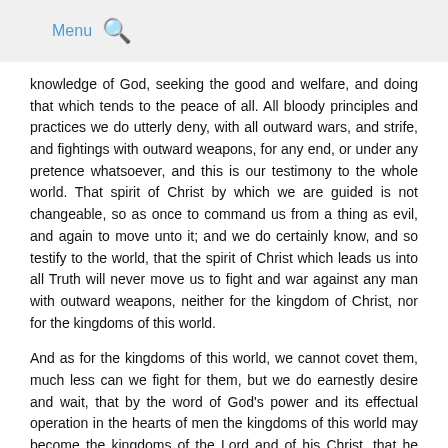Menu 🔍
knowledge of God, seeking the good and welfare, and doing that which tends to the peace of all. All bloody principles and practices we do utterly deny, with all outward wars, and strife, and fightings with outward weapons, for any end, or under any pretence whatsoever, and this is our testimony to the whole world. That spirit of Christ by which we are guided is not changeable, so as once to command us from a thing as evil, and again to move unto it; and we do certainly know, and so testify to the world, that the spirit of Christ which leads us into all Truth will never move us to fight and war against any man with outward weapons, neither for the kingdom of Christ, nor for the kingdoms of this world.
And as for the kingdoms of this world, we cannot covet them, much less can we fight for them, but we do earnestly desire and wait, that by the word of God's power and its effectual operation in the hearts of men the kingdoms of this world may become the kingdoms of the Lord and of his Christ, that he might rule and reign in men by his spirit and truth, that thereby all people, out of